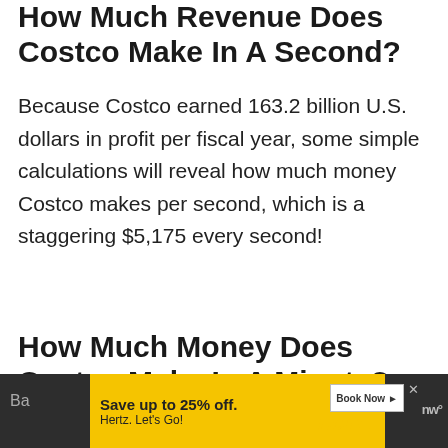How Much Revenue Does Costco Make In A Second?
Because Costco earned 163.2 billion U.S. dollars in profit per fiscal year, some simple calculations will reveal how much money Costco makes per second, which is a staggering $5,175 every second!
How Much Money Does Costco Make In A Minute?
[Figure (other): Hertz advertisement banner with yellow background, 'Save up to 25% off. Hertz. Let's Go!' text, Book Now button, and Hertz logo in italic yellow on dark background]